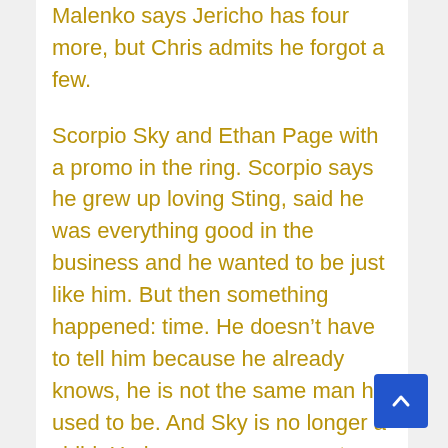Malenko says Jericho has four more, but Chris admits he forgot a few.
Scorpio Sky and Ethan Page with a promo in the ring. Scorpio says he grew up loving Sting, said he was everything good in the business and he wanted to be just like him. But then something happened: time. He doesn't have to tell him because he already knows, he is not the same man he used to be. And Sky is no longer a child. He is a grown man so step aside or he'll put him down.
Ethan wants to finish the interview without Schiavone. Says Scorpio already proved he can put Sting down when he locked him into a Heelhook to make him miss a week of Dynamite and on that week, they threw Darby